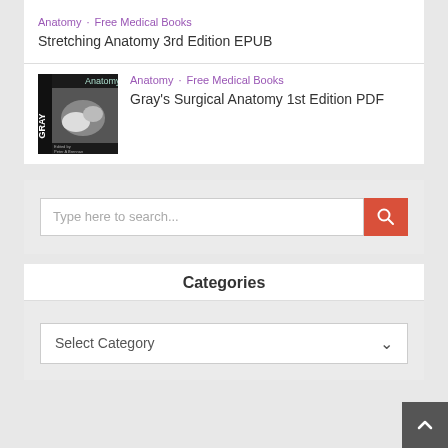Anatomy · Free Medical Books
Stretching Anatomy 3rd Edition EPUB
[Figure (illustration): Book cover of Gray's Surgical Anatomy showing hands]
Anatomy · Free Medical Books
Gray's Surgical Anatomy 1st Edition PDF
Type here to search...
Categories
Select Category